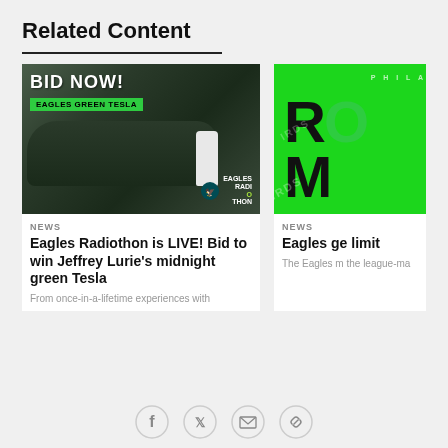Related Content
[Figure (photo): Photo of a dark green Tesla Model S with a man standing beside it. Overlay text reads 'BID NOW!' and 'EAGLES GREEN TESLA'. Eagles Radiothon logo in bottom right corner.]
NEWS
Eagles Radiothon is LIVE! Bid to win Jeffrey Lurie's midnight green Tesla
From once-in-a-lifetime experiences with
[Figure (photo): Partially visible green background with large bold letters 'RO M' and watermark text 'BIRDS'. Text 'PHILA' visible at top.]
NEWS
Eagles ge limit
The Eagles m the league-ma
Social share icons: Facebook, Twitter, Email, Link